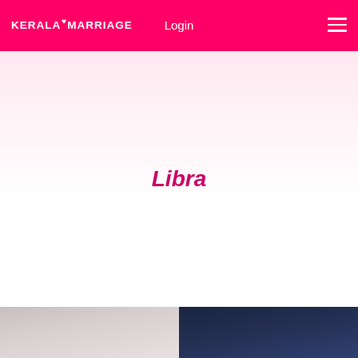KERALA MARRIAGE | Login
Libra
[Figure (photo): Bottom portion showing two people, left side appears to be a person in light clothing, right side appears to be a person in dark clothing against a blue background]